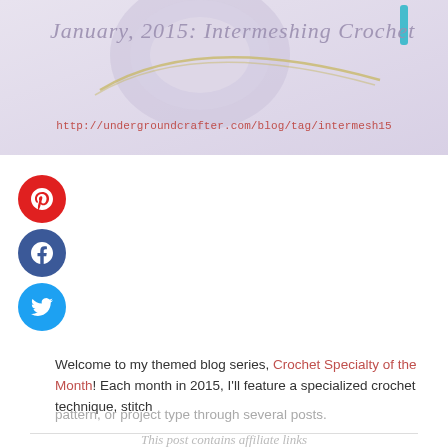[Figure (photo): Decorative banner image showing crochet yarn and text 'January, 2015: Intermeshing Crochet' in cursive script with a light purple/grey background]
http://undergroundcrafter.com/blog/tag/intermesh15
[Figure (infographic): Social media sharing buttons: Pinterest (red circle with P icon), Facebook (dark blue circle with f icon), Twitter (light blue circle with bird icon)]
Welcome to my themed blog series, Crochet Specialty of the Month! Each month in 2015, I'll feature a specialized crochet technique, stitch pattern, or project type through several posts.
This post contains affiliate links